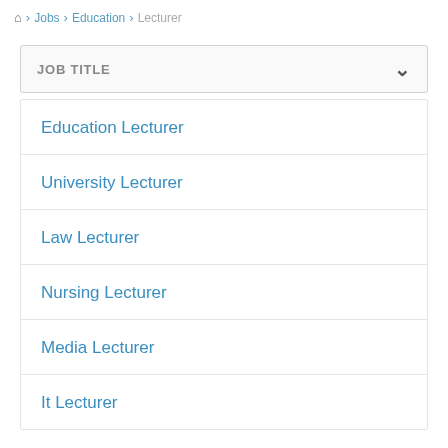🏠 › Jobs › Education › Lecturer
JOB TITLE
Education Lecturer
University Lecturer
Law Lecturer
Nursing Lecturer
Media Lecturer
It Lecturer